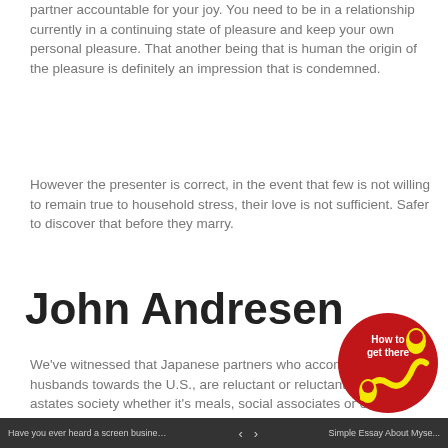partner accountable for your joy. You need to be in a relationship currently in a continuing state of pleasure and keep your own personal pleasure. That another being that is human the origin of the pleasure is definitely an impression that is condemned.
However the presenter is correct, in the event that few is not willing to remain true to household stress, their love is not sufficient. Safer to discover that before they marry.
John Andresen
We've witnessed that Japanese partners who accompany their husbands towards the U.S., are reluctant or reluctant to absorb or a... states society whether it's meals, social associates or o... and grumble that what they certainly were used to in Jap... right here. They truly are a miserable great deal who may... abnormally flee back into Japan with their kids.
Have you ever heard a screen business state they ...    ‹   ›    Simple Essay About Myse...